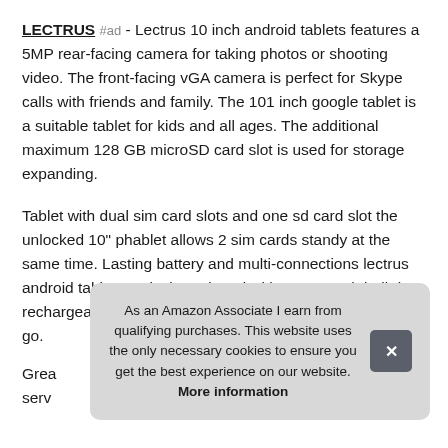LECTRUS #ad - Lectrus 10 inch android tablets features a 5MP rear-facing camera for taking photos or shooting video. The front-facing vGA camera is perfect for Skype calls with friends and family. The 101 inch google tablet is a suitable tablet for kids and all ages. The additional maximum 128 GB microSD card slot is used for storage expanding.
Tablet with dual sim card slots and one sd card slot the unlocked 10" phablet allows 2 sim cards standy at the same time. Lasting battery and multi-connections lectrus android tablets 10 inch equipped with a 6000mah built-in rechargeable battery, enables 5 hours mixed-use on the go.
Grea... serv...
As an Amazon Associate I earn from qualifying purchases. This website uses the only necessary cookies to ensure you get the best experience on our website. More information